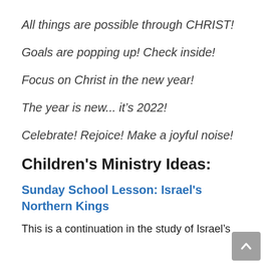All things are possible through CHRIST!
Goals are popping up! Check inside!
Focus on Christ in the new year!
The year is new... it’s 2022!
Celebrate! Rejoice! Make a joyful noise!
Children's Ministry Ideas:
Sunday School Lesson: Israel's Northern Kings
This is a continuation in the study of Israel’s